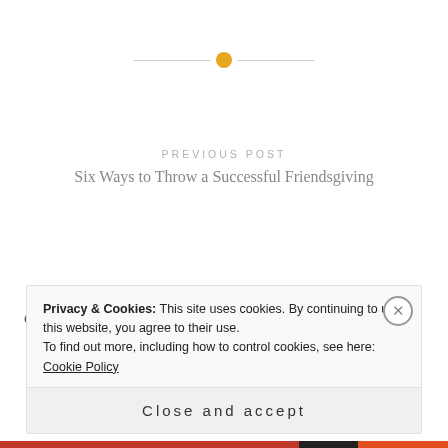[Figure (other): Horizontal decorative divider with a golden/amber circle in the center and thin gray lines on each side]
PREVIOUS POST
Six Ways to Throw a Successful Friendsgiving
NEXT POST
GET TO KNOW ZINDANELIA ARCIDIACONO FROM SONOMA CUTRER WINERY
Privacy & Cookies: This site uses cookies. By continuing to use this website, you agree to their use.
To find out more, including how to control cookies, see here: Cookie Policy
Close and accept